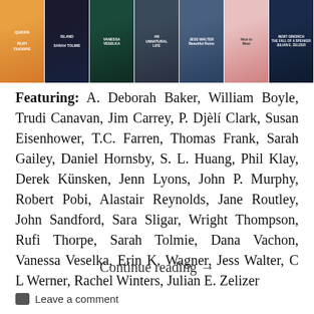[Figure (illustration): Strip of book covers including titles by Rufi Thorpe, Sarah Tolmie, Vanessa Veselka, and others]
Featuring: A. Deborah Baker, William Boyle, Trudi Canavan, Jim Carrey, P. Djèlí Clark, Susan Eisenhower, T.C. Farren, Thomas Frank, Sarah Gailey, Daniel Hornsby, S. L. Huang, Phil Klay, Derek Künsken, Jenn Lyons, John P. Murphy, Robert Pobi, Alastair Reynolds, Jane Routley, John Sandford, Sara Sligar, Wright Thompson, Rufi Thorpe, Sarah Tolmie, Dana Vachon, Vanessa Veselka, Erin K. Wagner, Jess Walter, C L Werner, Rachel Winters, Julian E. Zelizer
Continue reading →
Leave a comment